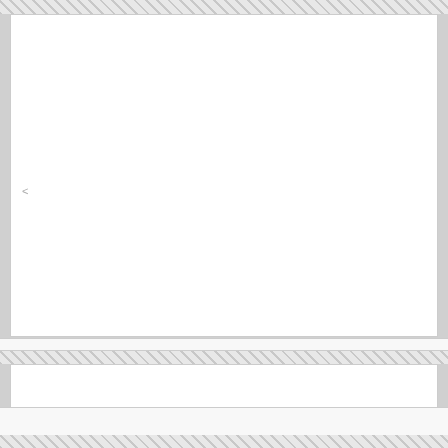[Figure (other): Page layout template with hatched border bands and white rectangular content regions. Contains a large white box at top, narrow white strip in middle, a medium white box, and a bottom strip. A less-than symbol '<' appears in the left-center of the large top box.]
<